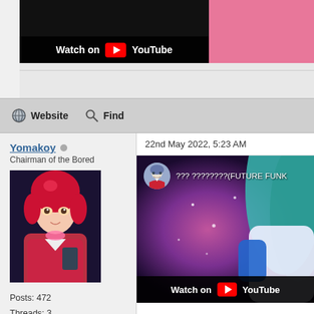[Figure (screenshot): Partial YouTube embed thumbnail with pink/green anime background, showing 'Watch on YouTube' bar at bottom]
[Figure (screenshot): Forum toolbar with Website and Find buttons on grey background]
Yomakoy
Chairman of the Bored
[Figure (photo): Anime character avatar with red hair]
Posts: 472
Threads: 3
Joined: 20/Feb/2019
PR2 Name: Platform Racing 2
22nd May 2022, 5:23 AM
[Figure (screenshot): YouTube video embed showing anime character with teal hair on purple background, channel avatar and partially visible title '??? ????????(FUTURE FUNK', Watch on YouTube bar at bottom]